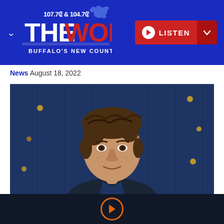107.7 & 104.7 The Wolf – Buffalo's New Country – LISTEN
News  August 18, 2022
[Figure (photo): Young man with wavy brown hair smiling, photographed against a dark blue wooden wall with small gold dots/lights. Professional headshot style portrait.]
[Figure (other): Dark footer bar with an orange-outlined play button circle in the center]